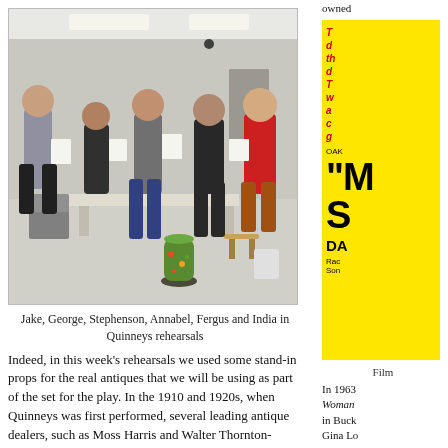[Figure (photo): Group of five people standing in a room holding papers, seemingly doing rehearsals. A decorative vase is visible on the floor. Tables and chairs in background.]
Jake, George, Stephenson, Annabel, Fergus and India in Quinneys rehearsals
Indeed, in this week's rehearsals we used some stand-in props for the real antiques that we will be using as part of the set for the play. In the 1910 and 1920s, when Quinneys was first performed, several leading antique dealers, such as Moss Harris and Walter Thornton-Smith, provided appropriate antiques for the set – and for our performance at The Witham, we have been lucky that several antique dealers, and also the Bowes Museum itself, have agreed to loan antiques for the play. For rehearsals of course, we need 'stand-ins', and in the photograph (below), Samuel (Quinney) and Stephenson
owned
[Figure (photo): Yellow advertisement poster with red italic text and large bold black letters reading 'M S', subtitle 'DA', small text at bottom.]
Film
In 1963 Woman in Buck Gina Lo